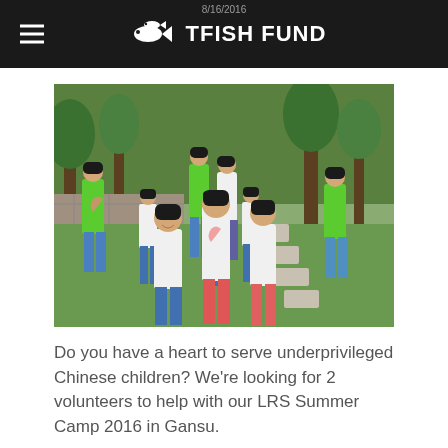TFISH FUND
[Figure (photo): Group photo of children and adult volunteers in a park/garden setting. Children wear white and pink t-shirts; adults wear bright green t-shirts. Everyone is making heart shapes with their hands. Green trees and a stone path visible in background.]
Do you have a heart to serve underprivileged Chinese children? We're looking for 2 volunteers to help with our LRS Summer Camp 2016 in Gansu.